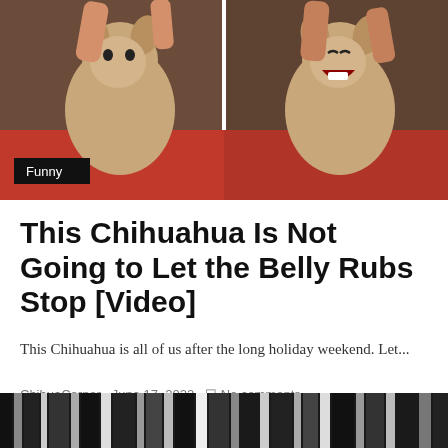[Figure (photo): Two side-by-side video frames of a Chihuahua being petted. Left frame shows the dog looking forward, right frame shows the dog with mouth open appearing to resist or react. A red sofa is visible. A black badge with 'Funny' label is overlaid on the bottom-left of the image.]
This Chihuahua Is Not Going to Let the Belly Rubs Stop [Video]
This Chihuahua is all of us after the long holiday weekend. Let...
ChihuaCorner · June 17, 2022 · No comments · 61 views · 1 minute read
[Figure (photo): Bottom portion of an image with blurred vertical dark and light stripes, likely the top of another article thumbnail.]